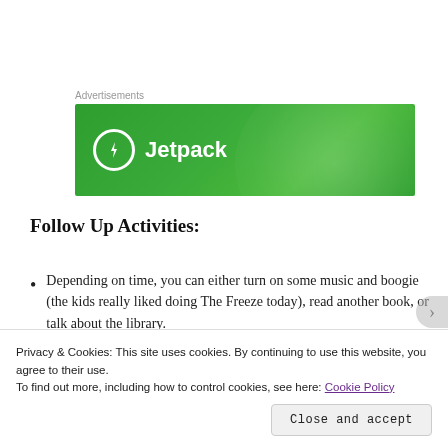Advertisements
[Figure (logo): Jetpack advertisement banner — green background with Jetpack logo (lightning bolt in circle) and 'Jetpack' text in white]
Follow Up Activities:
Depending on time, you can either turn on some music and boogie (the kids really liked doing The Freeze today), read another book, or talk about the library.
Privacy & Cookies: This site uses cookies. By continuing to use this website, you agree to their use. To find out more, including how to control cookies, see here: Cookie Policy
Close and accept
Advertisements